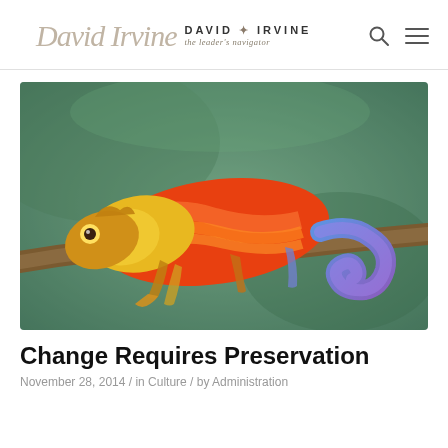David Irvine — the leader's navigator
[Figure (photo): A colorful chameleon with vivid orange, red, yellow, blue, and purple markings resting on a branch against a blurry green background. Its tail is curled in a spiral.]
Change Requires Preservation
November 28, 2014 / in Culture / by Administration